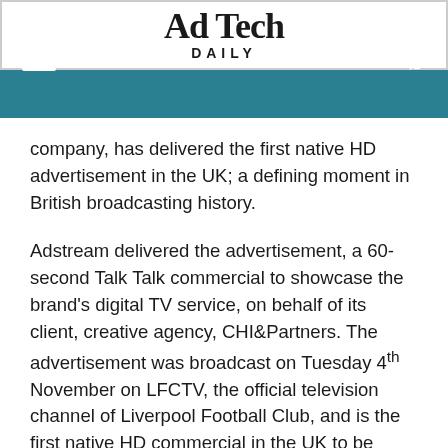Ad Tech DAILY
company, has delivered the first native HD advertisement in the UK; a defining moment in British broadcasting history.
Adstream delivered the advertisement, a 60-second Talk Talk commercial to showcase the brand's digital TV service, on behalf of its client, creative agency, CHI&Partners. The advertisement was broadcast on Tuesday 4th November on LFCTV, the official television channel of Liverpool Football Club, and is the first native HD commercial in the UK to be broadcast on a HD channel.
Until now, all advertisements broadcast in the UK have typically been delivered in standard definition (SD) and